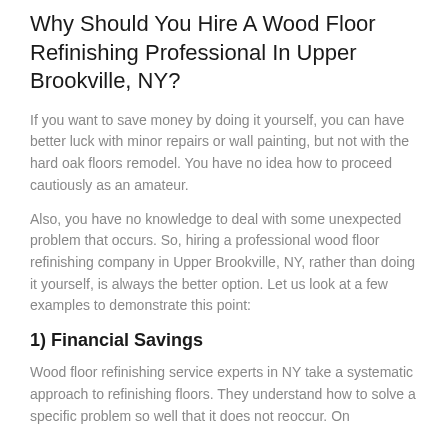Why Should You Hire A Wood Floor Refinishing Professional In Upper Brookville, NY?
If you want to save money by doing it yourself, you can have better luck with minor repairs or wall painting, but not with the hard oak floors remodel. You have no idea how to proceed cautiously as an amateur.
Also, you have no knowledge to deal with some unexpected problem that occurs. So, hiring a professional wood floor refinishing company in Upper Brookville, NY, rather than doing it yourself, is always the better option. Let us look at a few examples to demonstrate this point:
1) Financial Savings
Wood floor refinishing service experts in NY take a systematic approach to refinishing floors. They understand how to solve a specific problem so well that it does not reoccur. On